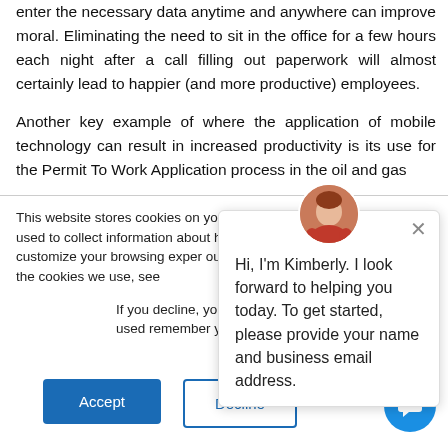enter the necessary data anytime and anywhere can improve moral. Eliminating the need to sit in the office for a few hours each night after a call filling out paperwork will almost certainly lead to happier (and more productive) employees.
Another key example of where the application of mobile technology can result in increased productivity is its use for the Permit To Work Application process in the oil and gas
This website stores cookies on your computer. Those cookies are used to collect information about how us to remember you. We use th customize your browsing exper our visitors both on this websit about the cookies we use, see
If you decline, you tracked when you cookie will be used remember your preference not to be tracked.
[Figure (screenshot): Chat widget with avatar photo of Kimberly, close button, and message: Hi, I'm Kimberly. I look forward to helping you today. To get started, please provide your name and business email address.]
Accept
Decline
[Figure (screenshot): Blue circular chat button in bottom right corner]